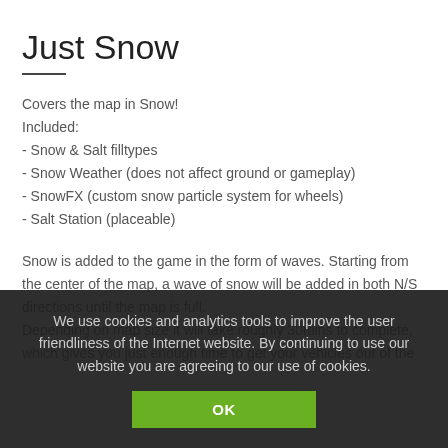Just Snow
Covers the map in Snow!
Included:
- Snow & Salt filltypes
- Snow Weather (does not affect ground or gameplay)
- SnowFX (custom snow particle system for wheels)
- Salt Station (placeable)
Snow is added to the game in the form of waves. Starting from the center of the map, a wave of snow will be added in both N/S directions until the map is full.
Depending on map size it will take roughly 30mins to complete, which gives you just enough time to get your vehicles out of the
We use cookies and analytics tools to improve the user friendliness of the Internet website. By continuing to use our website you are agreeing to our use of cookies.
OK